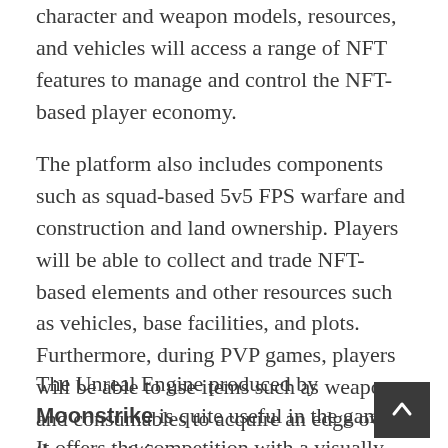character and weapon models, resources, and vehicles will access a range of NFT features to manage and control the NFT-based player economy.
The platform also includes components such as squad-based 5v5 FPS warfare and construction and land ownership. Players will be able to collect and trade NFT-based elements and other resources such as vehicles, base facilities, and plots. Furthermore, during PVP games, players will be able to use items such as weapons and consumables to acquire an edge over the competition.
The Unreal Engine produced by Moonstrike is quite useful in the game. It offers the competition with a visually stunning in-game universe that stays true to what devoted players have come to expect from the most recent AAA games on the market. While still in